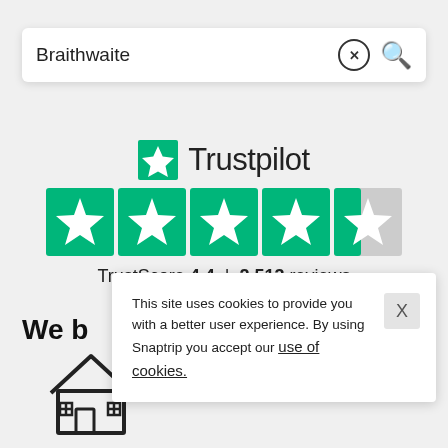Braithwaite
[Figure (logo): Trustpilot logo with green star and wordmark, followed by 4.5 star rating (4 full green stars and 1 partial), TrustScore 4.4 | 2,513 reviews]
TrustScore 4.4 | 2,513 reviews
We b
[Figure (illustration): Simple house/cottage outline icon]
This site uses cookies to provide you with a better user experience. By using Snaptrip you accept our use of cookies.